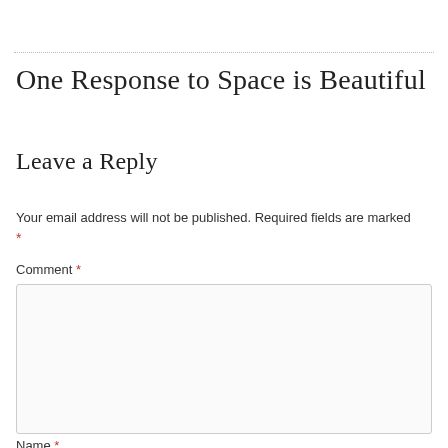One Response to Space is Beautiful
Leave a Reply
Your email address will not be published. Required fields are marked *
Comment *
Name *